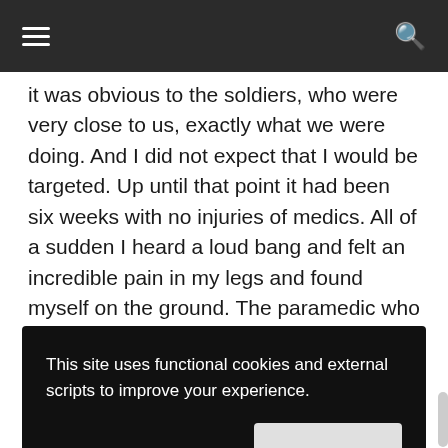≡  [navigation]  🔍
it was obvious to the soldiers, who were very close to us, exactly what we were doing. And I did not expect that I would be targeted. Up until that point it had been six weeks with no injuries of medics. All of a sudden I heard a loud bang and felt an incredible pain in my legs and found myself on the ground. The paramedic who rescued me, Musa Abuhassanin, Musa was killed an
This site uses functional cookies and external scripts to improve your experience.
MORE INFORMATION
News website in May 2018 and which included a